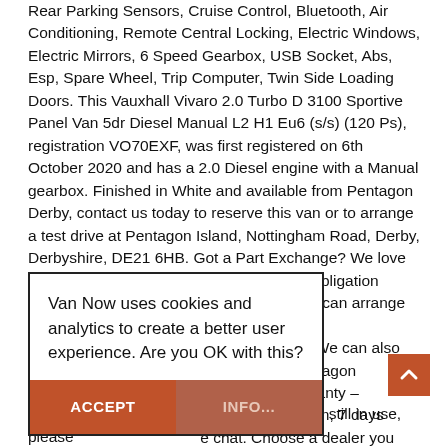Rear Parking Sensors, Cruise Control, Bluetooth, Air Conditioning, Remote Central Locking, Electric Windows, Electric Mirrors, 6 Speed Gearbox, USB Socket, Abs, Esp, Spare Wheel, Trip Computer, Twin Side Loading Doors. This Vauxhall Vivaro 2.0 Turbo D 3100 Sportive Panel Van 5dr Diesel Manual L2 H1 Eu6 (s/s) (120 Ps), registration VO70EXF, was first registered on 6th October 2020 and has a 2.0 Diesel engine with a Manual gearbox. Finished in White and available from Pentagon Derby, contact us today to reserve this van or to arrange a test drive at Pentagon Island, Nottingham Road, Derby, Derbyshire, DE21 6HB. Got a Part Exchange? We love them! Call us or visit our website for a no obligation valuation. Need delivery? No problem. We can arrange contactless nationwide delivery or k when you call. We can also tatus. All our Pentagon m 12 month warranty – s from 9am to 9pm, 7 days e chat. Choose a dealer you reviews of Pentagon our show an estimated mileage based on the age of the vehicle as they are still in use, please
Van Now uses cookies and analytics to create a better user experience. Are you OK with this?